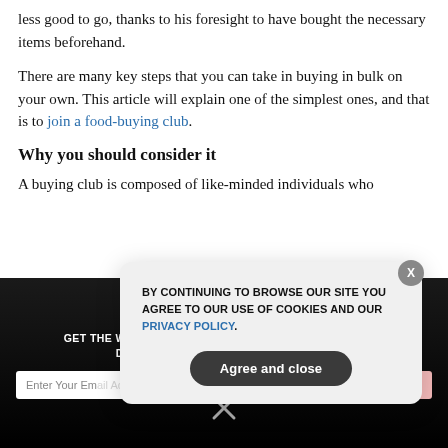less good to go, thanks to his foresight to have bought the necessary items beforehand.
There are many key steps that you can take in buying in bulk on your own. This article will explain one of the simplest ones, and that is to join a food-buying club.
Why you should consider it
A buying club is composed of like-minded individuals who
[Figure (screenshot): Newsletter signup banner with dark background reading 'GET THE WORLD'S BEST NATURAL HEALTH NEWSLETTER DELIVERED STRAIGHT TO YOUR INBOX' with email input and SUBSCRIBE button, and a close X icon below]
[Figure (screenshot): Cookie consent modal popup with text 'BY CONTINUING TO BROWSE OUR SITE YOU AGREE TO OUR USE OF COOKIES AND OUR PRIVACY POLICY.' and an 'Agree and close' button, with an X close button in top right corner]